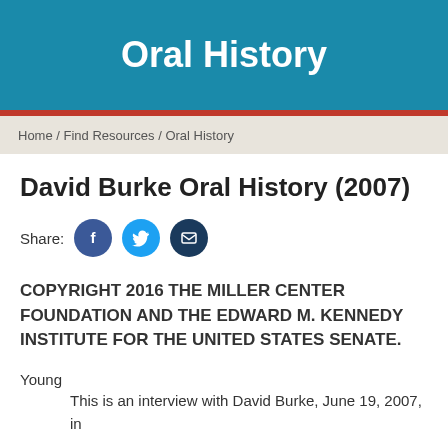Oral History
Home / Find Resources / Oral History
David Burke Oral History (2007)
[Figure (infographic): Share icons: Facebook (blue circle with f), Twitter (light blue circle with bird), Email (dark blue circle with envelope)]
COPYRIGHT 2016 THE MILLER CENTER FOUNDATION AND THE EDWARD M. KENNEDY INSTITUTE FOR THE UNITED STATES SENATE.
Young
This is an interview with David Burke, June 19, 2007, in